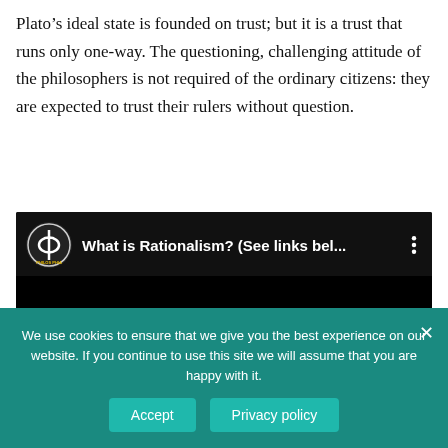Plato’s ideal state is founded on trust; but it is a trust that runs only one-way. The questioning, challenging attitude of the philosophers is not required of the ordinary citizens: they are expected to trust their rulers without question.
[Figure (screenshot): YouTube video thumbnail embed showing 'What is Rationalism? (See links bel...' with a philosophy channel logo (Phi symbol) on black background with three-dot menu icon]
We use cookies to ensure that we give you the best experience on our website. If you continue to use this site we will assume that you are happy with it.